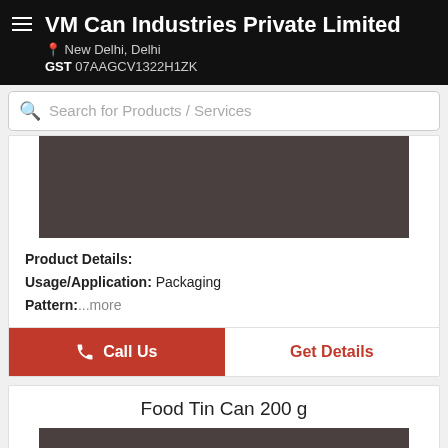VM Can Industries Private Limited
New Delhi, Delhi
GST 07AAGCV1322H1ZK
Search for Products / Services
[Figure (photo): Product image placeholder - dark brownish-grey rectangle]
Product Details:
Usage/Application: Packaging
Pattern:...more
Call Us
Get Details
Food Tin Can 200 g
[Figure (photo): Product image placeholder - dark brownish-grey rectangle]